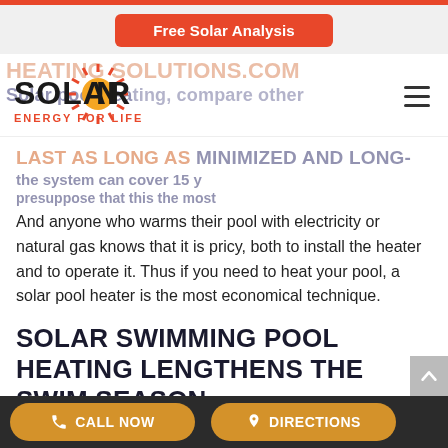Free Solar Analysis
[Figure (logo): SolarOn Energy For Life logo — bold black text SOLARON with an orange sun graphic, tagline ENERGY FOR LIFE in orange]
And anyone who warms their pool with electricity or natural gas knows that it is pricy, both to install the heater and to operate it. Thus if you need to heat your pool, a solar pool heater is the most economical technique.
SOLAR SWIMMING POOL HEATING LENGTHENS THE SWIM SEASON
CALL NOW   DIRECTIONS